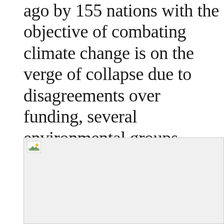ago by 155 nations with the objective of combating climate change is on the verge of collapse due to disagreements over funding, several environmental groups gathered in the Thai capital said on Sunday.
[Figure (photo): A partially loaded image placeholder with a small landscape/photo icon in the top-left corner, shown as a broken/loading image box.]